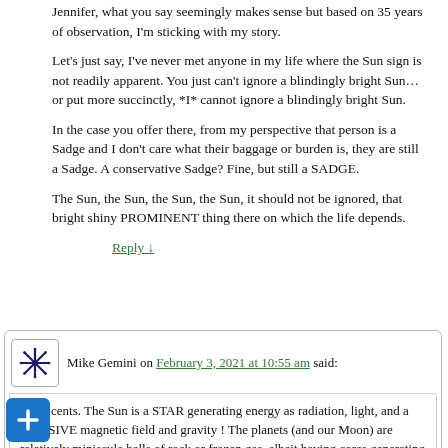Jennifer, what you say seemingly makes sense but based on 35 years of observation, I'm sticking with my story.
Let's just say, I've never met anyone in my life where the Sun sign is not readily apparent. You just can't ignore a blindingly bright Sun… or put more succinctly, *I* cannot ignore a blindingly bright Sun.
In the case you offer there, from my perspective that person is a Sadge and I don't care what their baggage or burden is, they are still a Sadge. A conservative Sadge? Fine, but still a SADGE.
The Sun, the Sun, the Sun, the Sun, it should not be ignored, that bright shiny PROMINENT thing there on which the life depends.
Reply ↓
Mike Gemini on February 3, 2021 at 10:55 am said:
My 2 cents. The Sun is a STAR generating energy as radiation, light, and a MASSIVE magnetic field and gravity ! The planets (and our Moon) are relatively miniscule balls of rock or frozen gas, albeit having cores generating magnetic fields by rotation and orbital revolution. One should always consider the Astronomy part of Astrology !
Reply ↓